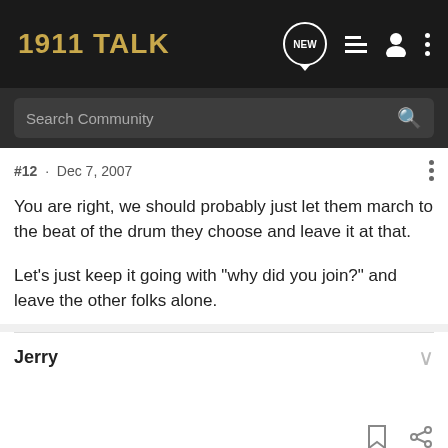1911 TALK
Search Community
#12 · Dec 7, 2007
You are right, we should probably just let them march to the beat of the drum they choose and leave it at that.

Let's just keep it going with "why did you join?" and leave the other folks alone.
Jerry
[Figure (screenshot): Bass Pro Shops ad banner: RELOADING SUPPLIES with SHOP NOW button]